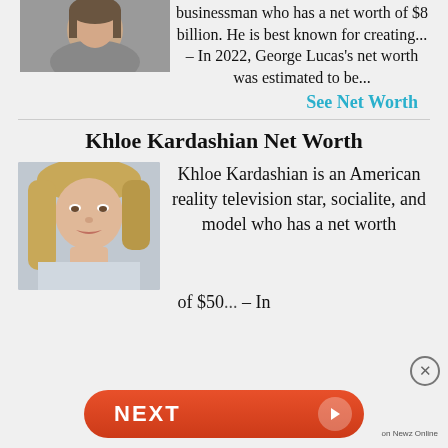[Figure (photo): Partial photo of a man at the top left, cropped showing face/shoulders]
businessman who has a net worth of $8 billion. He is best known for creating... – In 2022, George Lucas's net worth was estimated to be...
See Net Worth
Khloe Kardashian Net Worth
[Figure (photo): Photo of Khloe Kardashian, American reality television star]
Khloe Kardashian is an American reality television star, socialite, and model who has a net worth of $50... – In
[Figure (other): NEXT button bar at bottom with red pill-shaped button and arrow]